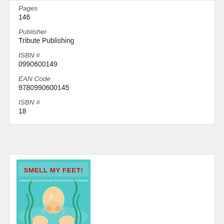Pages
146
Publisher
Tribute Publishing
ISBN #
0990600149
EAN Code
9780990600145
ISBN #
18
[Figure (illustration): Book cover for 'Smell My Feet!' showing a cartoon nose on a teal/aqua background with stylized seaweed and feet at the bottom. The title 'SMELL MY FEET!' is in red bold text at the top.]